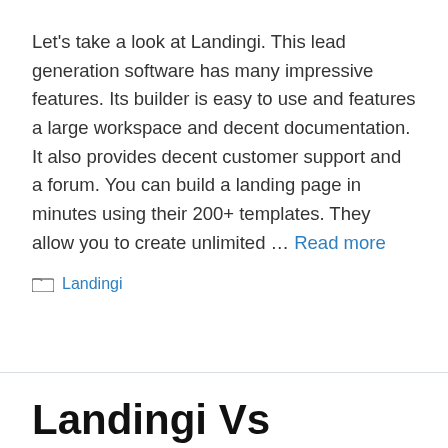Let's take a look at Landingi. This lead generation software has many impressive features. Its builder is easy to use and features a large workspace and decent documentation. It also provides decent customer support and a forum. You can build a landing page in minutes using their 200+ templates. They allow you to create unlimited … Read more
Landingi
Landingi Vs